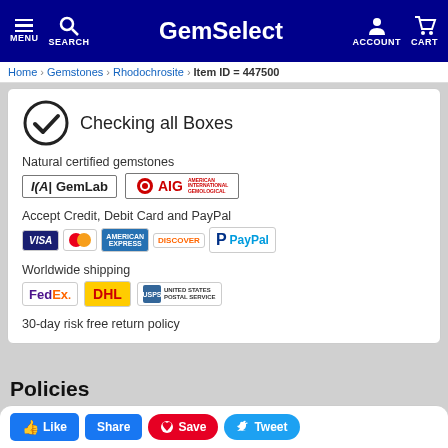GemSelect — MENU SEARCH ACCOUNT CART
Home > Gemstones > Rhodochrosite > Item ID = 447500
Checking all Boxes
Natural certified gemstones
[Figure (logo): GemLab and AIG certification logos]
Accept Credit, Debit Card and PayPal
[Figure (logo): Visa, MasterCard, American Express, Discover, PayPal payment logos]
Worldwide shipping
[Figure (logo): FedEx, DHL, United States Postal Service shipping logos]
30-day risk free return policy
Policies